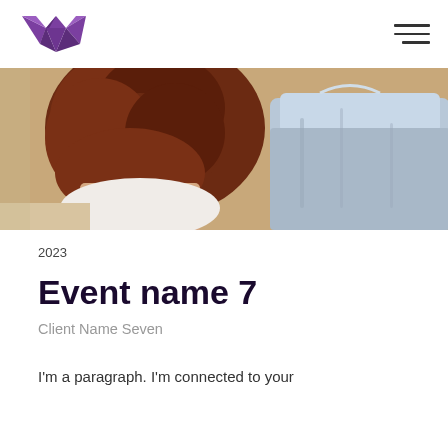[Figure (logo): Purple geometric W-shaped logo made of origami-style triangular facets]
[Figure (photo): Close-up photo from behind of two people, one with curly auburn/red hair wearing a white garment, the other in a light blue/grey shirt, appearing to be at an intimate or wedding-related event]
2023
Event name 7
Client Name Seven
I'm a paragraph. I'm connected to your